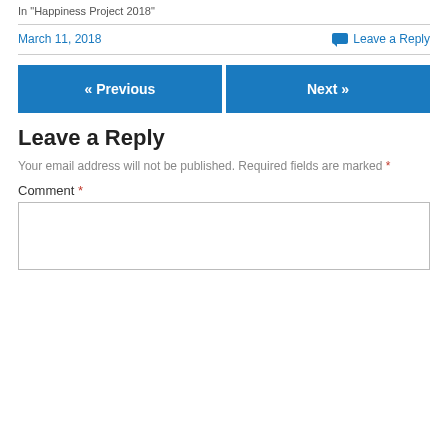In "Happiness Project 2018"
March 11, 2018   Leave a Reply
« Previous   Next »
Leave a Reply
Your email address will not be published. Required fields are marked *
Comment *